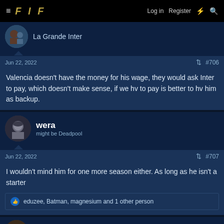FIF — Log in  Register
La Grande Inter
Jun 22, 2022  #706
Valencia doesn't have the money for his wage, they would ask Inter to pay, which doesn't make sense, if we hv to pay is better to hv him as backup.
wera — might be Deadpool
Jun 22, 2022  #707
I wouldn't mind him for one more season either. As long as he isn't a starter
eduzee, Batman, magnesium and 1 other person
IM21